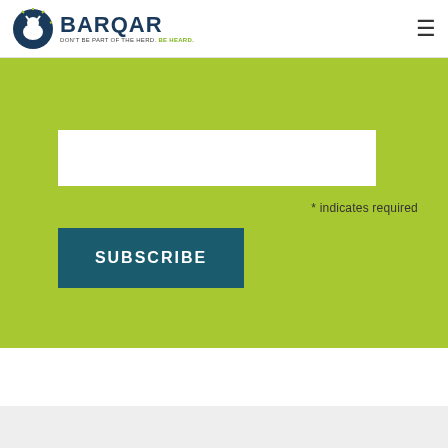BARQAR — DON'T BE PART OF THE HERD. BE HEARD.
* indicates required
SUBSCRIBE